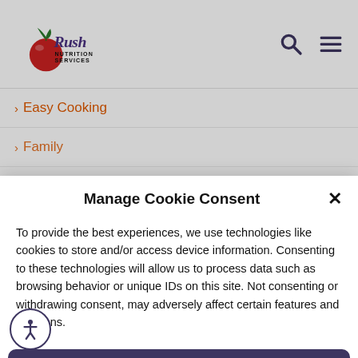[Figure (logo): Rush Nutrition Services logo with stylized script text and tomato graphic]
> Easy Cooking
> Family
Manage Cookie Consent
To provide the best experiences, we use technologies like cookies to store and/or access device information. Consenting to these technologies will allow us to process data such as browsing behavior or unique IDs on this site. Not consenting or withdrawing consent, may adversely affect certain features and functions.
Accept